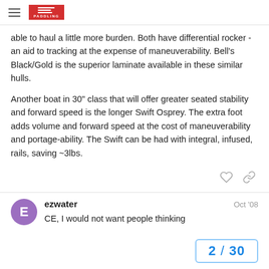Paddling forum header with hamburger menu and logo
able to haul a little more burden. Both have differential rocker - an aid to tracking at the expense of maneuverability. Bell's Black/Gold is the superior laminate available in these similar hulls.
Another boat in 30" class that will offer greater seated stability and forward speed is the longer Swift Osprey. The extra foot adds volume and forward speed at the cost of maneuverability and portage-ability. The Swift can be had with integral, infused, rails, saving ~3lbs.
ezwater
Oct '08
CE, I would not want people thinking